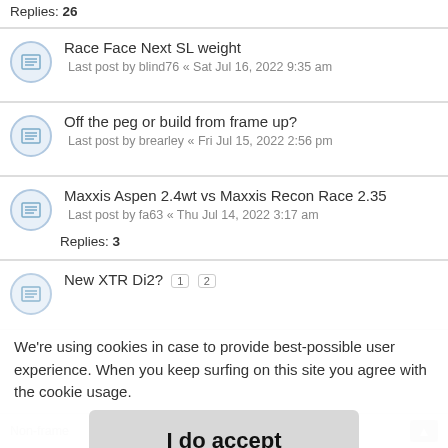Replies: 26
Race Face Next SL weight
Last post by blind76 « Sat Jul 16, 2022 9:35 am
Off the peg or build from frame up?
Last post by brearley « Fri Jul 15, 2022 2:56 pm
Maxxis Aspen 2.4wt vs Maxxis Recon Race 2.35
Last post by fa63 « Thu Jul 14, 2022 3:17 am
Replies: 3
New XTR Di2? [1][2]
We're using cookies in case to provide best-possible user experience. When you keep surfing on this site you agree with the cookie usage.
I do accept